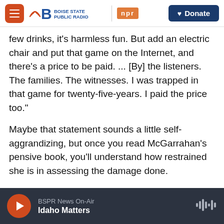Boise State Public Radio | NPR | Donate
few drinks, it's harmless fun. But add an electric chair and put that game on the Internet, and there's a price to be paid. ... [By] the listeners. The families. The witnesses. I was trapped in that game for twenty-five-years. I paid the price too."
Maybe that statement sounds a little self-aggrandizing, but once you read McGarrahan's pensive book, you'll understand how restrained she is in assessing the damage done.
Copyright 2021 Fresh Air. To see more, visit Fresh Air.
BSPR News On-Air — Idaho Matters